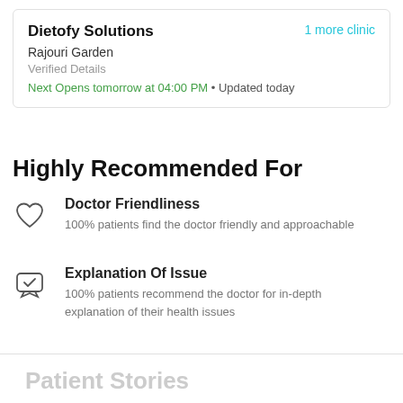Dietofy Solutions
1 more clinic
Rajouri Garden
Verified Details
Next Opens tomorrow at 04:00 PM • Updated today
Highly Recommended For
Doctor Friendliness — 100% patients find the doctor friendly and approachable
Explanation Of Issue — 100% patients recommend the doctor for in-depth explanation of their health issues
Patient Stories